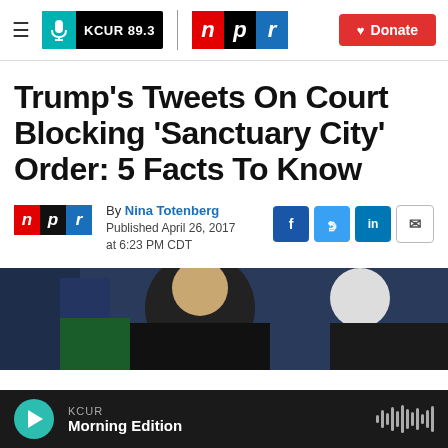KCUR 89.3 | npr | Donate
Trump's Tweets On Court Blocking 'Sanctuary City' Order: 5 Facts To Know
By Nina Totenberg
Published April 26, 2017 at 6:23 PM CDT
[Figure (photo): Photo of people at an event, partially visible, appears to be Trump-related news photo]
KCUR Morning Edition